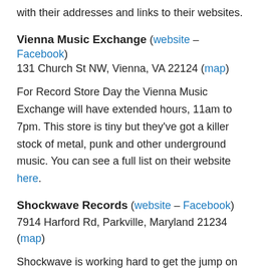with their addresses and links to their websites.
Vienna Music Exchange (website – Facebook)
131 Church St NW, Vienna, VA 22124 (map)
For Record Store Day the Vienna Music Exchange will have extended hours, 11am to 7pm. This store is tiny but they've got a killer stock of metal, punk and other underground music. You can see a full list on their website here.
Shockwave Records (website – Facebook)
7914 Harford Rd, Parkville, Maryland 21234 (map)
Shockwave is working hard to get the jump on other stores on Record Store Day by opening at mightnight Friday night/Saturday morning. They'll be selling exclusive RSD merch from midnight until 2am Saturday morning and then